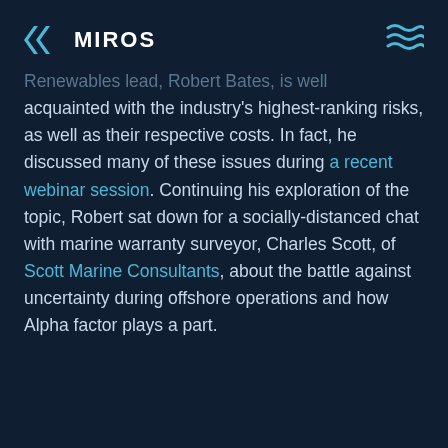MIROS
Renewables lead, Robert Bates, is well acquainted with the industry's highest-ranking risks, as well as their respective costs. In fact, he discussed many of these issues during a recent webinar session. Continuing his exploration of the topic, Robert sat down for a socially-distanced chat with marine warranty surveyor, Charles Scott, of Scott Marine Consultants, about the battle against uncertainty during offshore operations and how Alpha factor plays a part.